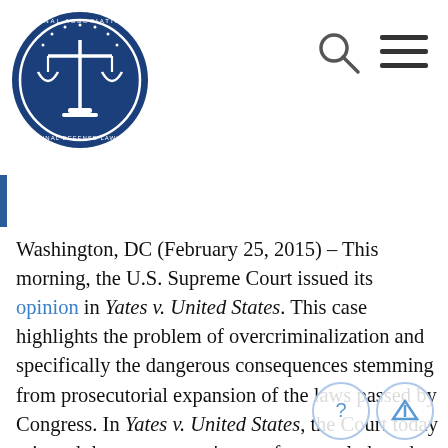[Figure (logo): National Association of Criminal Defense Lawyers circular logo with blue background and scales of justice]
[Figure (other): Search magnifying glass icon and hamburger menu icon in top right of header]
Washington, DC (February 25, 2015) – This morning, the U.S. Supreme Court issued its opinion in Yates v. United States. This case highlights the problem of overcriminalization and specifically the dangerous consequences stemming from prosecutorial expansion of the laws passed by Congress. In Yates v. United States, the Court today rejected the government's use of an overly broad interpretation of a post-Enron anti-shredding statute (18 U.S.C. §1519), a statute that provides for up to a 20-year prison sentence